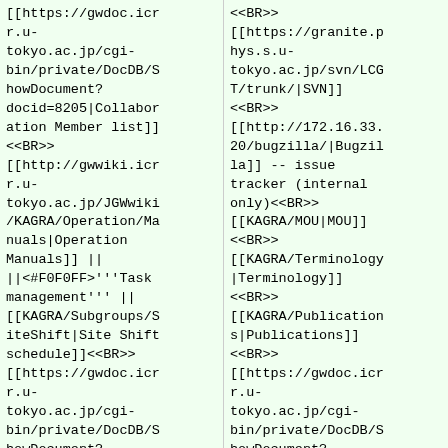[[https://gwdoc.icr r.u-tokyo.ac.jp/cgi-bin/private/DocDB/ShowDocument?docid=8205|Collaboration Member list]]<<BR>>[[http://gwwiki.icr r.u-tokyo.ac.jp/JGWwiki/KAGRA/Operation/Manuals|Operation Manuals]] ||  ||<#F0F0FF>'''Task management''' || [[KAGRA/Subgroups/SiteShift|Site Shift schedule]]<<BR>>[[https://gwdoc.icr r.u-tokyo.ac.jp/cgi-bin/private/DocDB/ShowDocument?docid=6715|KAGRA
<<BR>>[[https://granite.phys.s.u-tokyo.ac.jp/svn/LCGT/trunk/|SVN]]<<BR>>[[http://172.16.33.20/bugzilla/|Bugzilla]] -- issue tracker (internal only)<<BR>>[[KAGRA/MOU|MOU]]<<BR>>[[KAGRA/Terminology|Terminology]]<<BR>>[[KAGRA/Publications|Publications]]<<BR>>[[https://gwdoc.icr r.u-tokyo.ac.jp/cgi-bin/private/DocDB/ShowDocument?docid=8205|Collabor